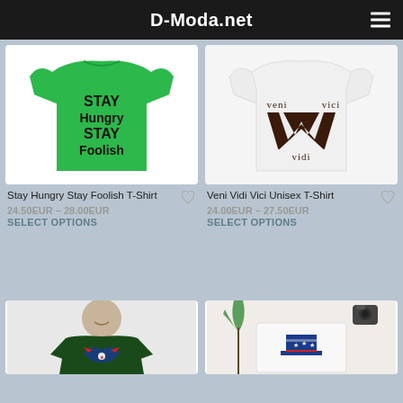D-Moda.net
[Figure (photo): Green t-shirt with 'STAY Hungry STAY Foolish' text in bold black]
Stay Hungry Stay Foolish T-Shirt
24.50EUR – 28.00EUR
SELECT OPTIONS
[Figure (photo): White t-shirt with 'Veni Vidi Vici' W-shaped logo in dark brown]
Veni Vidi Vici Unisex T-Shirt
24.00EUR – 27.50EUR
SELECT OPTIONS
[Figure (photo): Man wearing dark green t-shirt with American eagle blue/red graphic]
[Figure (photo): White t-shirt with American top hat graphic with stars, camera and plant in background]